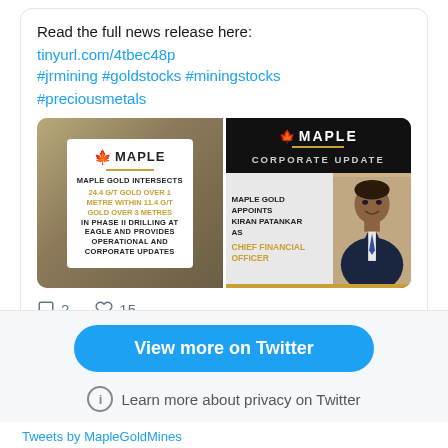Read the full news release here:
tinyurl.com/4tbec48p
#jrmining #goldstocks #miningstocks #preciousmetals
[Figure (screenshot): Two Maple Gold Mines press release images side by side. Left: white card on stone background with Maple Gold Mines logo, headline 'MAPLE GOLD INTERSECTS 24.4 G/T GOLD OVER 1 METRE WITHIN 11.4 G/T GOLD OVER 3 METRES IN PHASE II DRILLING AT EAGLE AND PROVIDES OPERATIONAL AND CORPORATE UPDATES'. Right: black background corporate update card with Maple Gold Mines logo, headline 'MAPLE GOLD APPOINTS KIRAN PATANKAR AS CHIEF FINANCIAL OFFICER', photo of a man in suit, gold footer with TSX.V: MGM | OTCQB: MGMLF www.maplegoldmines.com]
2
15
View more on Twitter
Learn more about privacy on Twitter
Tweets by MapleGoldMines